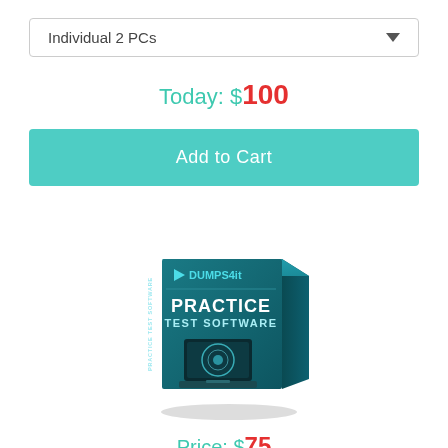Individual 2 PCs
Today: $100
Add to Cart
[Figure (illustration): Dumps4it Practice Test Software product box showing a laptop and branding on a dark teal background]
Price: $75